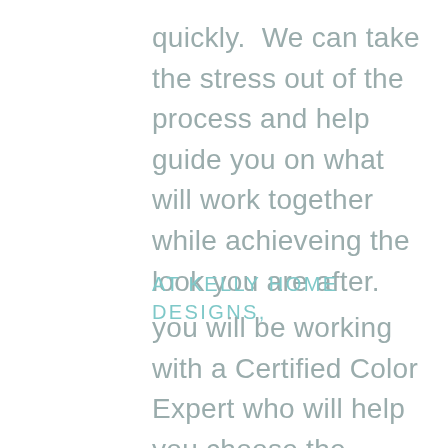quickly.  We can take the stress out of the process and help guide you on what will work together while achieveing the look you are after.
AT KELLY HOME DESIGNS,
you will be working with a Certified Color Expert who will help you choose the perfect customized color palette for your home.